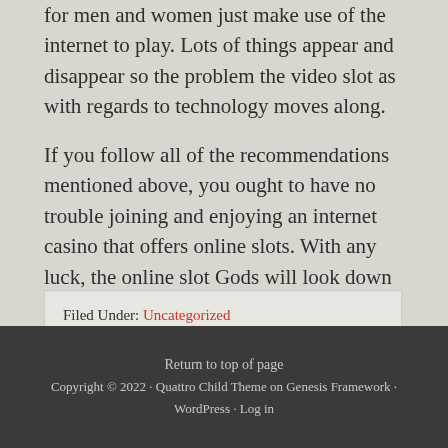for men and women just make use of the internet to play. Lots of things appear and disappear so the problem the video slot as with regards to technology moves along.
If you follow all of the recommendations mentioned above, you ought to have no trouble joining and enjoying an internet casino that offers online slots. With any luck, the online slot Gods will look down anyone favorably, and you will become the other instant millionaire thanks to wonderful groupings.
Filed Under: Uncategorized
Return to top of page
Copyright © 2022 · Quattro Child Theme on Genesis Framework · WordPress · Log in